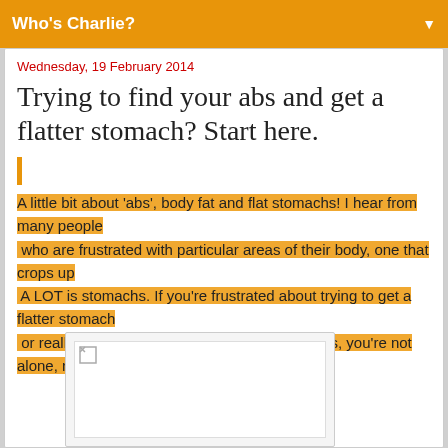Who's Charlie?
Wednesday, 19 February 2014
Trying to find your abs and get a flatter stomach? Start here.
A little bit about 'abs', body fat and flat stomachs! I hear from many people who are frustrated with particular areas of their body, one that crops up A LOT is stomachs. If you're frustrated about trying to get a flatter stomach or really want to see some definition in your abs, you're not alone, read on.
[Figure (photo): Image placeholder with broken image icon at top left, white background inside a light grey bordered box]